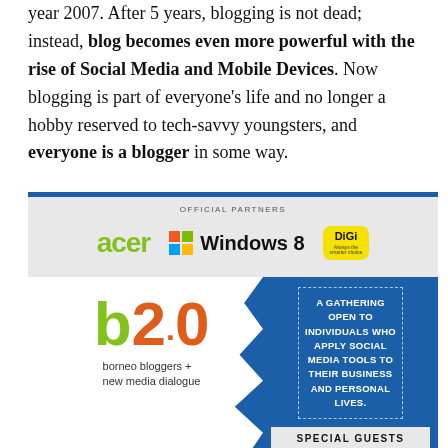year 2007. After 5 years, blogging is not dead; instead, blog becomes even more powerful with the rise of Social Media and Mobile Devices. Now blogging is part of everyone's life and no longer a hobby reserved to tech-savvy youngsters, and everyone is a blogger in some way.
[Figure (infographic): Borneo Bloggers + New Media Dialogue (b2.0) event banner. Shows official partners: Acer, Windows 8, DiGi. Features the b2.0 logo in green and orange on torn white paper background, subtitle 'borneo bloggers + new media dialogue', text 'A GATHERING OPEN TO INDIVIDUALS WHO APPLY SOCIAL MEDIA TOOLS TO THEIR BUSINESS AND PERSONAL LIVES.' and 'SPECIAL GUESTS' button at bottom.]